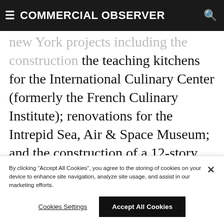≡ COMMERCIAL OBSERVER
new York projects including the construction the teaching kitchens for the International Culinary Center (formerly the French Culinary Institute); renovations for the Intrepid Sea, Air & Space Museum; and the construction of a 12-story luxury condominium in Park Slope, Brooklyn. He also spearheaded projects for the Battery Park City Authority, including the Irish Hunger Memorial
By clicking "Accept All Cookies", you agree to the storing of cookies on your device to enhance site navigation, analyze site usage, and assist in our marketing efforts.
Cookies Settings    Accept All Cookies